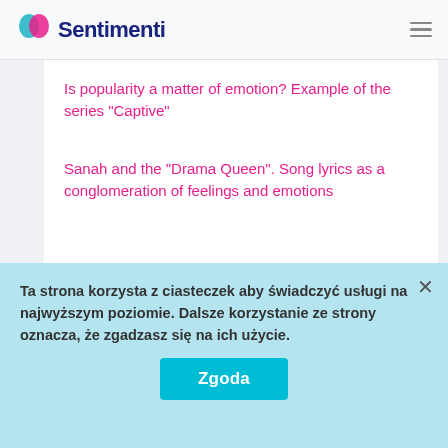Sentimenti
Is popularity a matter of emotion? Example of the series "Captive"
Sanah and the "Drama Queen". Song lyrics as a conglomeration of feelings and emotions
Categories
Categorising comments
monitoring of emotions
project development
scholarly articles
Ta strona korzysta z ciasteczek aby świadczyć usługi na najwyższym poziomie. Dalsze korzystanie ze strony oznacza, że zgadzasz się na ich użycie.